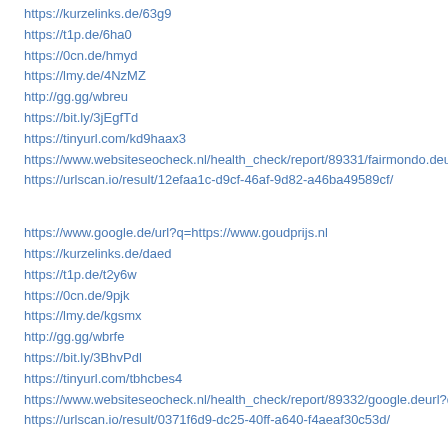https://kurzelinks.de/63g9
https://t1p.de/6ha0
https://0cn.de/hmyd
https://lmy.de/4NzMZ
http://gg.gg/wbreu
https://bit.ly/3jEgfTd
https://tinyurl.com/kd9haax3
https://www.websiteseocheck.nl/health_check/report/89331/fairmondo.deusersgold
https://urlscan.io/result/12efaa1c-d9cf-46af-9d82-a46ba49589cf/
https://www.google.de/url?q=https://www.goudprijs.nl
https://kurzelinks.de/daed
https://t1p.de/t2y6w
https://0cn.de/9pjk
https://lmy.de/kgsmx
http://gg.gg/wbrfe
https://bit.ly/3BhvPdl
https://tinyurl.com/tbhcbes4
https://www.websiteseocheck.nl/health_check/report/89332/google.deurl?q=goudp
https://urlscan.io/result/0371f6d9-dc25-40ff-a640-f4aeaf30c53d/